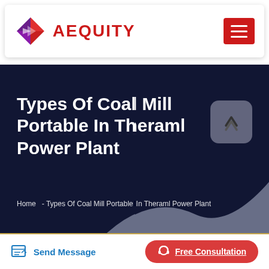[Figure (logo): Aequity logo with geometric diamond-arrow mark and red bold AEQUITY text, plus hamburger menu button in red]
Types Of Coal Mill Portable In Theraml Power Plant
Home  -  Types Of Coal Mill Portable In Theraml Power Plant
Send Message
Free Consultation